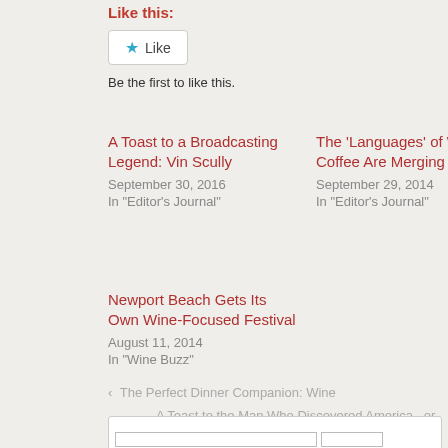Like this:
Like (button) — Be the first to like this.
A Toast to a Broadcasting Legend: Vin Scully
September 30, 2016
In "Editor's Journal"
The 'Languages' of Wine and Coffee Are Merging
September 29, 2014
In "Editor's Journal"
Newport Beach Gets Its Own Wine-Focused Festival
August 11, 2014
In "Wine Buzz"
‹ The Perfect Dinner Companion: Wine
A Toast to the Man Who Discovered America...or Not ›
Posted in Wine Buzz